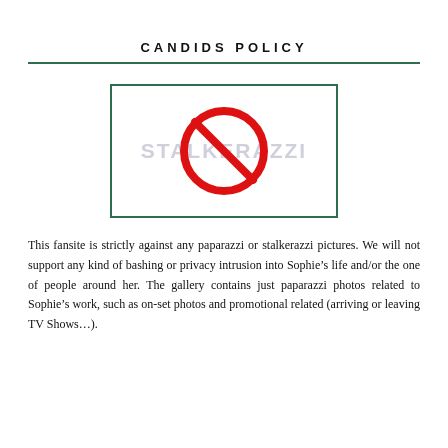CANDIDS POLICY
[Figure (illustration): A no-entry/prohibition symbol (red circle with diagonal bar) overlaid on the word STALKERAZZI in light grey, inside a green-bordered rectangle.]
This fansite is strictly against any paparazzi or stalkerazzi pictures. We will not support any kind of bashing or privacy intrusion into Sophie’s life and/or the one of people around her. The gallery contains just paparazzi photos related to Sophie’s work, such as on-set photos and promotional related (arriving or leaving TV Shows…).